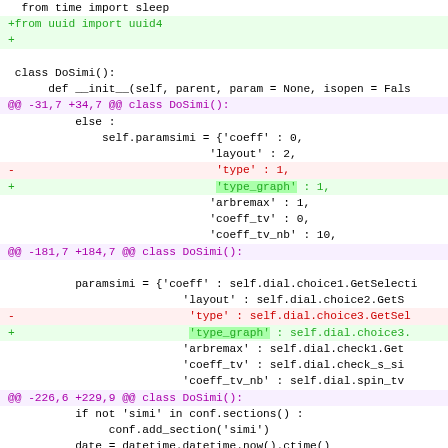[Figure (screenshot): A git diff view of Python source code showing changes to a DoSimi class, with added lines in green, removed lines in red, and hunk headers in purple/magenta.]